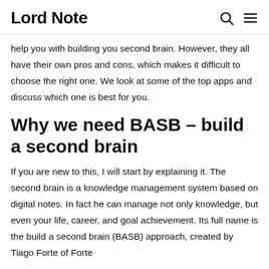Lord Note
help you with building you second brain. However, they all have their own pros and cons, which makes it difficult to choose the right one. We look at some of the top apps and discuss which one is best for you.
Why we need BASB – build a second brain
If you are new to this, I will start by explaining it. The second brain is a knowledge management system based on digital notes. In fact he can manage not only knowledge, but even your life, career, and goal achievement. Its full name is the build a second brain (BASB) approach, created by Tiago Forte of Forte